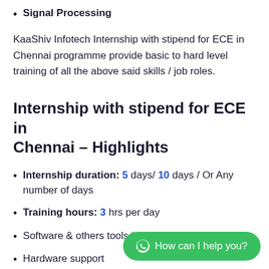Signal Processing
KaaShiv Infotech Internship with stipend for ECE in Chennai programme provide basic to hard level training of all the above said skills / job roles.
Internship with stipend for ECE in Chennai – Highlights
Internship duration: 5 days/ 10 days / Or Any number of days
Training hours: 3 hrs per day
Software & others tools installation Guidance
Hardware support
Internship Report creation / Project